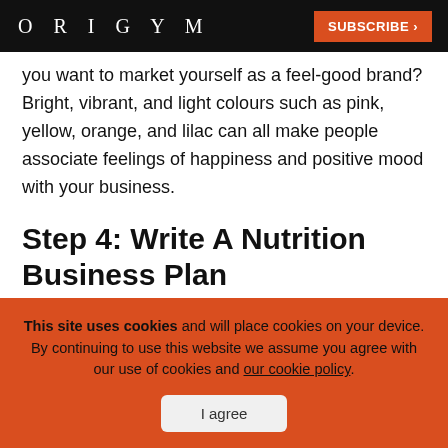ORIGYM | SUBSCRIBE >
you want to market yourself as a feel-good brand? Bright, vibrant, and light colours such as pink, yellow, orange, and lilac can all make people associate feelings of happiness and positive mood with your business.
Step 4: Write A Nutrition Business Plan
This site uses cookies and will place cookies on your device. By continuing to use this website we assume you agree with our use of cookies and our cookie policy.
I agree